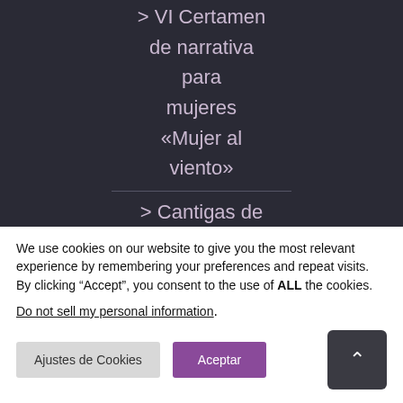> VI Certamen de narrativa para mujeres «Mujer al viento»
> Cantigas de Santa...
We use cookies on our website to give you the most relevant experience by remembering your preferences and repeat visits. By clicking “Accept”, you consent to the use of ALL the cookies.
Do not sell my personal information.